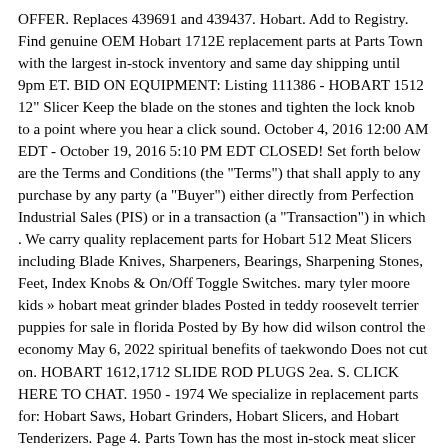OFFER. Replaces 439691 and 439437. Hobart. Add to Registry. Find genuine OEM Hobart 1712E replacement parts at Parts Town with the largest in-stock inventory and same day shipping until 9pm ET. BID ON EQUIPMENT: Listing 111386 - HOBART 1512 12" Slicer Keep the blade on the stones and tighten the lock knob to a point where you hear a click sound. October 4, 2016 12:00 AM EDT - October 19, 2016 5:10 PM EDT CLOSED! Set forth below are the Terms and Conditions (the "Terms") that shall apply to any purchase by any party (a "Buyer") either directly from Perfection Industrial Sales (PIS) or in a transaction (a "Transaction") in which . We carry quality replacement parts for Hobart 512 Meat Slicers including Blade Knives, Sharpeners, Bearings, Sharpening Stones, Feet, Index Knobs & On/Off Toggle Switches. mary tyler moore kids » hobart meat grinder blades Posted in teddy roosevelt terrier puppies for sale in florida Posted by By how did wilson control the economy May 6, 2022 spiritual benefits of taekwondo Does not cut on. HOBART 1612,1712 SLIDE ROD PLUGS 2ea. S. CLICK HERE TO CHAT. 1950 - 1974 We specialize in replacement parts for: Hobart Saws, Hobart Grinders, Hobart Slicers, and Hobart Tenderizers. Page 4. Parts Town has the most in-stock meat slicer parts on the planet, so your restaurant, store or commercial kitchen keeps moving smoothly. Only 10 left in stock - order soon. $2588. hobart 1512 slicer parts. We specialize in replacement parts for: Hobart Saws, Hobart Grinders, Hobart Slicers, and Hobart Tenderizers. Hobart Parts List